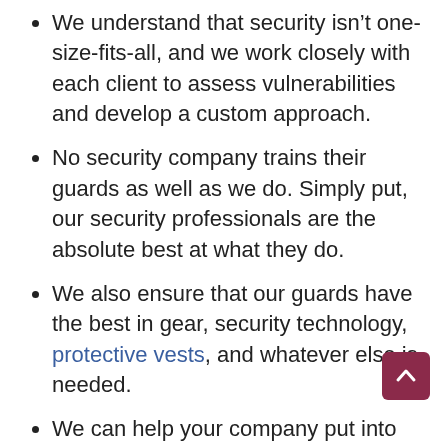We understand that security isn’t one-size-fits-all, and we work closely with each client to assess vulnerabilities and develop a custom approach.
No security company trains their guards as well as we do. Simply put, our security professionals are the absolute best at what they do.
We also ensure that our guards have the best in gear, security technology, protective vests, and whatever else is needed.
We can help your company put into place a security strategy that’s meant to minimize incidents, rather than simply responding to them after the fact.
The bottom line: We have the people, the technology, and the expertise to handle all your security needs. We invite you to learn more by